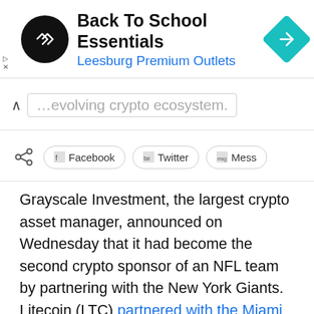[Figure (screenshot): Advertisement banner for Back To School Essentials at Leesburg Premium Outlets with navigation icon]
…evolving crypto ecosystem.
Facebook  Twitter  Messenger
Grayscale Investment, the largest crypto asset manager, announced on Wednesday that it had become the second crypto sponsor of an NFL team by partnering with the New York Giants. Litecoin (LTC) partnered with the Miami Dolphins back in 2019.